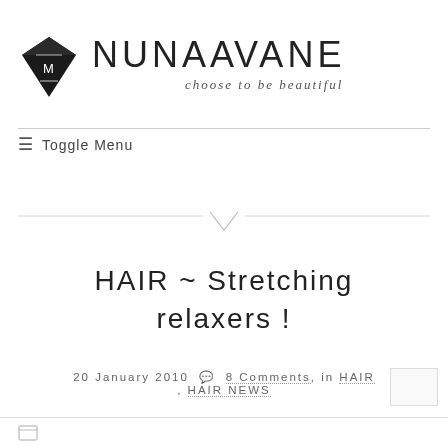NUNAAVANE — choose to be beautiful
Toggle Menu
HAIR ~ Stretching relaxers !
20 January 2010  8 Comments, in HAIR , HAIR NEWS